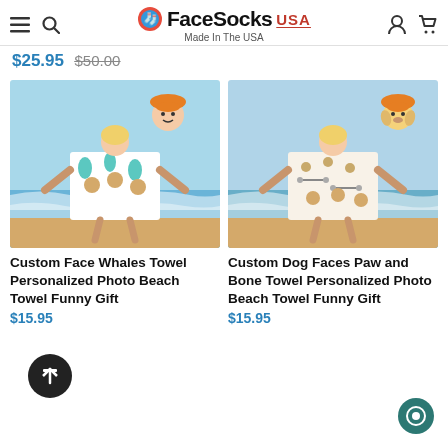FaceSocks USA - Made In The USA
$25.95 $50.00
[Figure (photo): Woman holding a custom beach towel with face/whale pattern standing on beach, with a child's face in an orange hat floating above.]
Custom Face Whales Towel Personalized Photo Beach Towel Funny Gift
$15.95
[Figure (photo): Woman holding a custom beach towel with dog faces, paw and bone pattern standing on beach, with a dog's face in an orange hat floating above.]
Custom Dog Faces Paw and Bone Towel Personalized Photo Beach Towel Funny Gift
$15.95